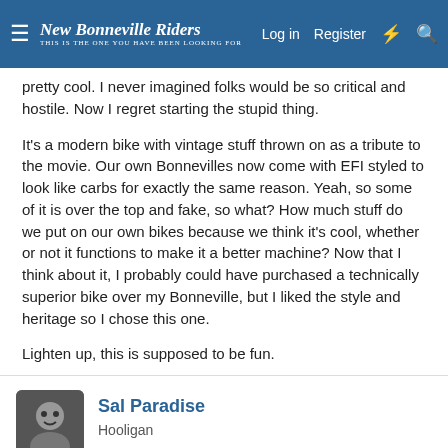New Bonneville Riders | Log in | Register
pretty cool. I never imagined folks would be so critical and hostile. Now I regret starting the stupid thing.
It's a modern bike with vintage stuff thrown on as a tribute to the movie. Our own Bonnevilles now come with EFI styled to look like carbs for exactly the same reason. Yeah, so some of it is over the top and fake, so what? How much stuff do we put on our own bikes because we think it's cool, whether or not it functions to make it a better machine? Now that I think about it, I probably could have purchased a technically superior bike over my Bonneville, but I liked the style and heritage so I chose this one.
Lighten up, this is supposed to be fun.
Sal Paradise
Hooligan
Oct 1, 2013 | #40